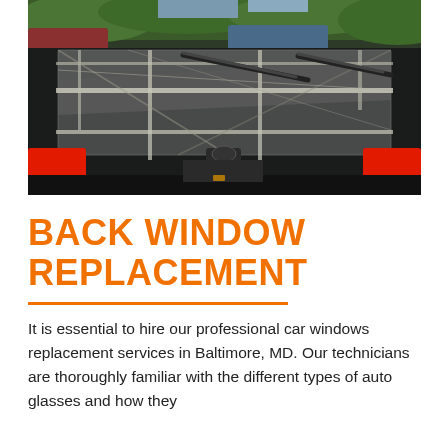[Figure (photo): Rear view of a dark-colored car with its back window covered in black plastic sheeting and duct tape, with windshield wipers visible. Red taillights are visible on both sides. Green trees and other cars are in the background.]
BACK WINDOW REPLACEMENT
It is essential to hire our professional car windows replacement services in Baltimore, MD. Our technicians are thoroughly familiar with the different types of auto glasses and how they